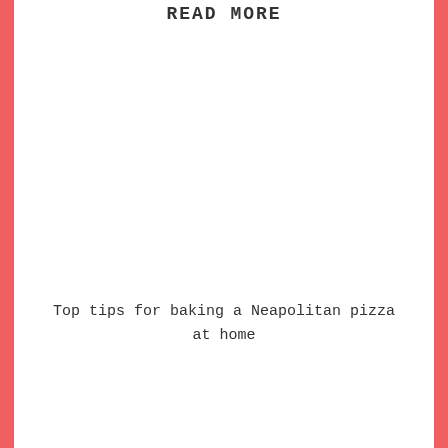READ MORE
Top tips for baking a Neapolitan pizza at home